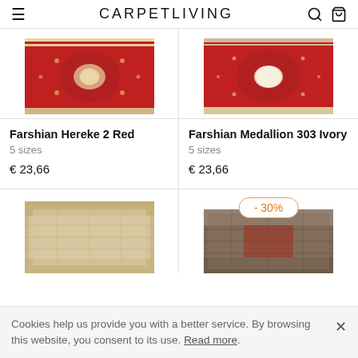CARPETLIVING
[Figure (photo): Farshian Hereke 2 Red rug image - red oriental carpet with medallion pattern]
Farshian Hereke 2 Red
5 sizes
€ 23,66
[Figure (photo): Farshian Medallion 303 Ivory rug image - red and ivory oriental carpet with medallion pattern]
Farshian Medallion 303 Ivory
5 sizes
€ 23,66
[Figure (photo): Beige vintage rug image - partially visible]
[Figure (photo): Dark vintage rug image with -30% discount badge - partially visible]
Cookies help us provide you with a better service. By browsing this website, you consent to its use. Read more.